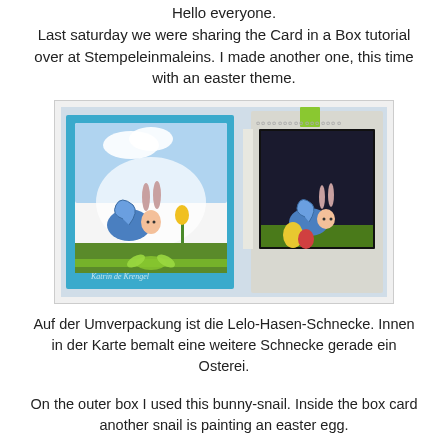Hello everyone. Last saturday we were sharing the Card in a Box tutorial over at Stempeleinmaleins. I made another one, this time with an easter theme.
[Figure (photo): Two handmade Easter-themed card-in-a-box projects. The left box is blue with a white lace doily, a bunny-snail figure, green grass, and a yellow tulip, decorated with a green ribbon and bow. The right box is white/grey patterned and shows an interior scene with a snail painting an Easter egg, with a green tab at the top.]
Auf der Umverpackung ist die Lelo-Hasen-Schnecke. Innen in der Karte bemalt eine weitere Schnecke gerade ein Osterei.
On the outer box I used this bunny-snail. Inside the box card another snail is painting an easter egg.